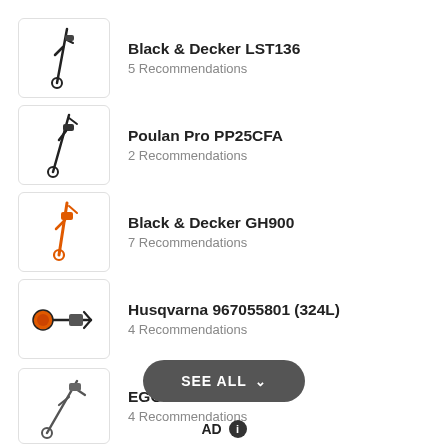Black & Decker LST136
5 Recommendations
Poulan Pro PP25CFA
2 Recommendations
Black & Decker GH900
7 Recommendations
Husqvarna 967055801 (324L)
4 Recommendations
EGO Power+ ST1502
4 Recommendations
SEE ALL
AD